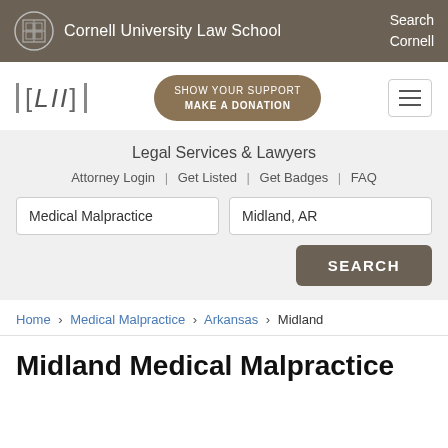Cornell University Law School | Search Cornell
[Figure (logo): LII logo with [LII] bracket style text]
[Figure (other): Show Your Support Make A Donation button]
Legal Services & Lawyers
Attorney Login | Get Listed | Get Badges | FAQ
Medical Malpractice [search field] | Midland, AR [search field] | SEARCH button
Home › Medical Malpractice › Arkansas › Midland
Midland Medical Malpractice